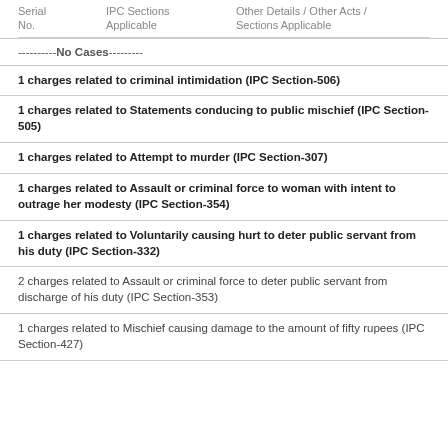| Serial No. | IPC Sections Applicable | Other Details / Other Acts / Sections Applicable |
| --- | --- | --- |
----------No Cases---------
1 charges related to criminal intimidation (IPC Section-506)
1 charges related to Statements conducing to public mischief (IPC Section-505)
1 charges related to Attempt to murder (IPC Section-307)
1 charges related to Assault or criminal force to woman with intent to outrage her modesty (IPC Section-354)
1 charges related to Voluntarily causing hurt to deter public servant from his duty (IPC Section-332)
2 charges related to Assault or criminal force to deter public servant from discharge of his duty (IPC Section-353)
1 charges related to Mischief causing damage to the amount of fifty rupees (IPC Section-427)